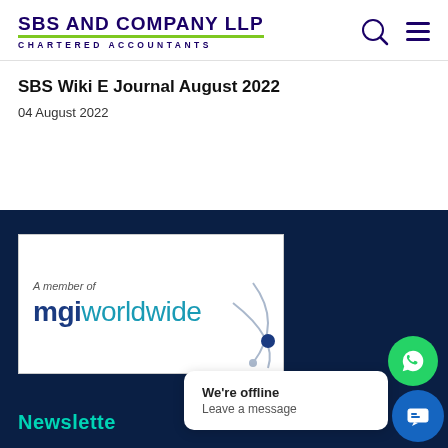SBS AND COMPANY LLP CHARTERED ACCOUNTANTS
SBS Wiki E Journal August 2022
04 August 2022
[Figure (logo): MGI Worldwide logo with 'A member of' text above, displayed on white background within dark navy blue footer section]
Newsletter
We're offline
Leave a message